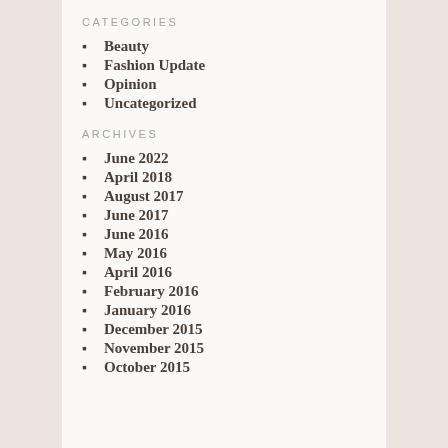CATEGORIES
Beauty
Fashion Update
Opinion
Uncategorized
ARCHIVES
June 2022
April 2018
August 2017
June 2017
June 2016
May 2016
April 2016
February 2016
January 2016
December 2015
November 2015
October 2015